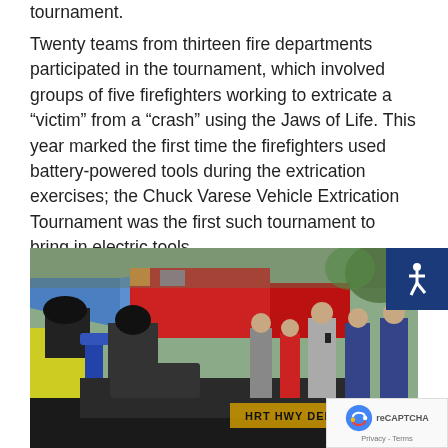tournament.
Twenty teams from thirteen fire departments participated in the tournament, which involved groups of five firefighters working to extricate a “victim” from a “crash” using the Jaws of Life. This year marked the first time the firefighters used battery-powered tools during the extrication exercises; the Chuck Varese Vehicle Extrication Tournament was the first such tournament to bring in electric tools.
[Figure (photo): Firefighters using the Jaws of Life to extricate a victim from a crashed vehicle during the Chuck Varese Vehicle Extrication Tournament. Firefighters in full gear are seen working on a vehicle, with fire trucks and spectators visible in the background. A text on the car reads 'HRT HWY DEPT'.]